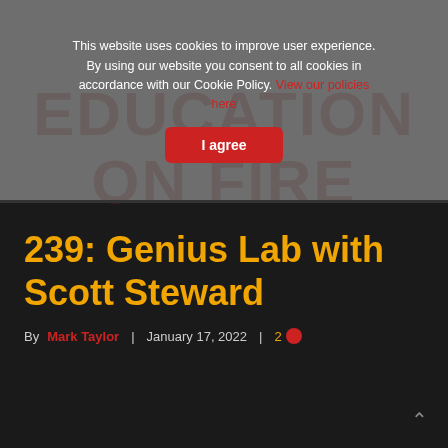This website uses cookies to improve user experience. By using our website you consent to all cookies in accordance with our Cookie Policy. View our policies here
I agree
239: Genius Lab with Scott Steward
By Mark Taylor | January 17, 2022 | 2